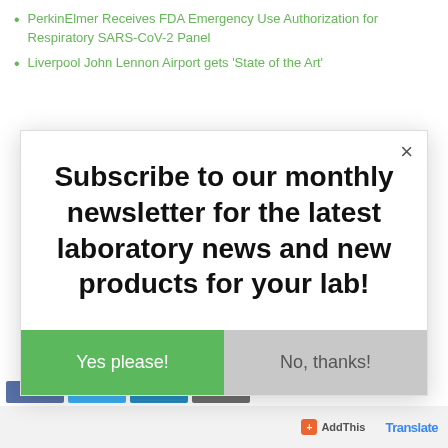PerkinElmer Receives FDA Emergency Use Authorization for Respiratory SARS-CoV-2 Panel
Liverpool John Lennon Airport gets 'State of the Art'
Subscribe to our monthly newsletter for the latest laboratory news and new products for your lab!
Yes please!
No, thanks!